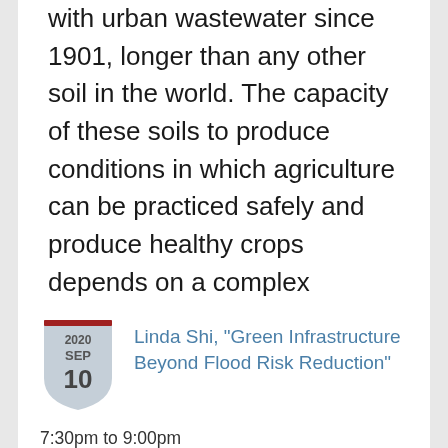with urban wastewater since 1901, longer than any other soil in the world. The capacity of these soils to produce conditions in which agriculture can be practiced safely and produce healthy crops depends on a complex negotiation between soil…
Linda Shi, "Green Infrastructure Beyond Flood Risk Reduction"
7:30pm to 9:00pm
Location: Online Event, Graduate